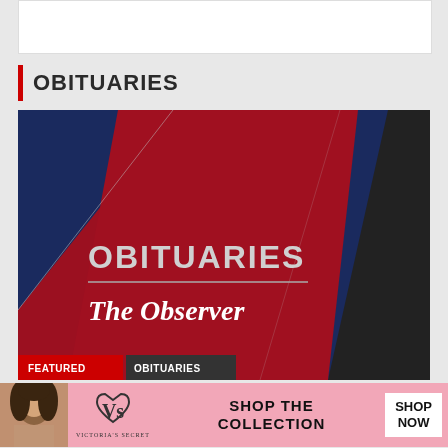OBITUARIES
[Figure (illustration): Graphic banner with dark red and navy blue diagonal sections. Text reads 'OBITUARIES' in large silver bold font, below a horizontal silver line, then 'The Observer' in large white serif italic font. Bottom shows partial buttons labeled 'FEATURED' and 'OBITUARIES'.]
[Figure (infographic): Victoria's Secret advertisement banner with pink background. Shows a woman model on the left, Victoria's Secret logo in center, 'SHOP THE COLLECTION' text, and a 'SHOP NOW' white button on the right.]